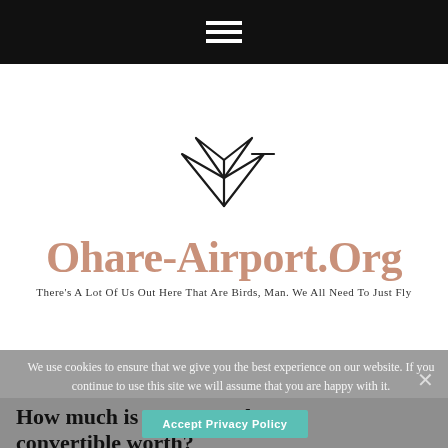Navigation menu (hamburger icon)
[Figure (logo): Abstract bird/origami logo mark in black line art above site name]
Ohare-Airport.Org
There's A Lot Of Us Out Here That Are Birds, Man. We All Need To Just Fly
We use cookies to ensure that we give you the best experience on our website. If you continue to use this site we will assume that you are happy with it.
How much is a 1971 Cutlass convertible worth?